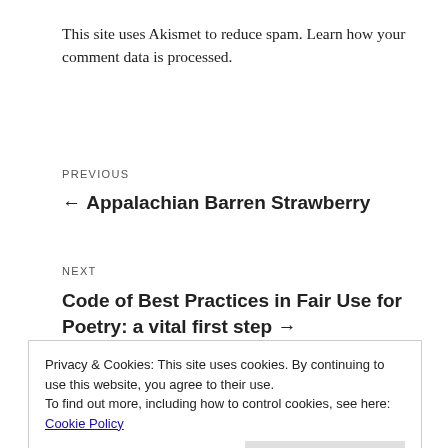This site uses Akismet to reduce spam. Learn how your comment data is processed.
PREVIOUS
← Appalachian Barren Strawberry
NEXT
Code of Best Practices in Fair Use for Poetry: a vital first step →
Privacy & Cookies: This site uses cookies. By continuing to use this website, you agree to their use.
To find out more, including how to control cookies, see here: Cookie Policy
Close and accept